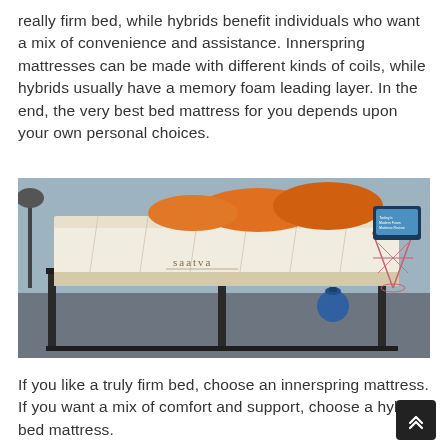really firm bed, while hybrids benefit individuals who want a mix of convenience and assistance. Innerspring mattresses can be made with different kinds of coils, while hybrids usually have a memory foam leading layer. In the end, the very best bed mattress for you depends upon your own personal choices.
[Figure (photo): A Saatva branded mattress displayed on a dark metal bed frame in a stylized room setting. Orange pillows sit on top of the white quilted mattress. A blue kettle bell and a pink/rose gold wire side table are visible in the background along with a small tablet device.]
If you like a truly firm bed, choose an innerspring mattress. If you want a mix of comfort and support, choose a hybrid bed mattress.